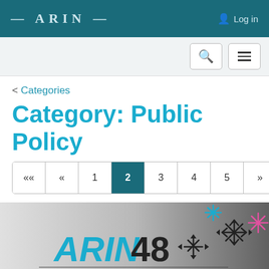ARIN  Log in
< Categories
Category: Public Policy
« « 1 2 3 4 5 » »»
[Figure (illustration): ARIN 48 conference banner with snowflake decorations. Shows 'ARIN 48' logo in teal and black, 'POWERED BY PARTICIPATION' subtitle, and 'Get to Know the Draft Policies' text at bottom.]